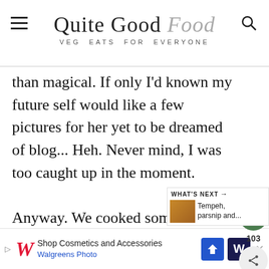Quite Good Food — VEG EATS FOR EVERYONE
than magical. If only I'd known my future self would like a few pictures for her yet to be dreamed of blog... Heh. Never mind, I was too caught up in the moment.

Anyway. We cooked some great stuff, then we ate it. One of those things was jeow mak keua, a spicy and stinky (in a good way) eggplant dip. Jeow, or spicy dipping sauce, is a typical part c
[Figure (other): Floating social buttons: heart/like button (green circle, 103 count) and share button]
[Figure (other): What's Next widget showing Tempeh, parsnip and... with food thumbnail]
Shop Cosmetics and Accessories — Walgreens Photo [Advertisement]